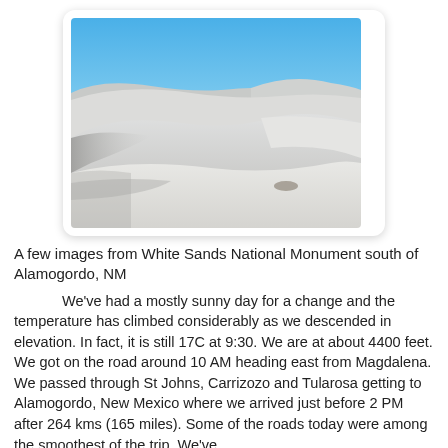[Figure (photo): White sand dunes under a clear blue sky at White Sands National Monument, New Mexico. The smooth white gypsum dunes fill the foreground and middle ground, with a vivid blue sky above and gentle curved dune ridges in the background.]
A few images from White Sands National Monument south of Alamogordo, NM
We've had a mostly sunny day for a change and the temperature has climbed considerably as we descended in elevation. In fact, it is still 17C at 9:30. We are at about 4400 feet. We got on the road around 10 AM heading east from Magdalena. We passed through St Johns, Carrizozo and Tularosa getting to Alamogordo, New Mexico where we arrived just before 2 PM after 264 kms (165 miles). Some of the roads today were among the smoothest of the trip. We've